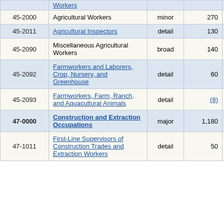| Code | Occupation | Level | Value1 | Value2(%) |
| --- | --- | --- | --- | --- |
|  | Workers (partial top) |  |  |  |
| 45-2000 | Agricultural Workers | minor | 270 | 28.2% |
| 45-2011 | Agricultural Inspectors | detail | 130 | 42.9% |
| 45-2090 | Miscellaneous Agricultural Workers | broad | 140 | 34.0% |
| 45-2092 | Farmworkers and Laborers, Crop, Nursery, and Greenhouse | detail | 60 | 41.8% |
| 45-2093 | Farmworkers, Farm, Ranch, and Aquacultural Animals | detail | (8) | (8) |
| 47-0000 | Construction and Extraction Occupations | major | 1,180 | 24.9% |
| 47-1011 | First-Line Supervisors of Construction Trades and Extraction Workers | detail | 50 | 31.1% |